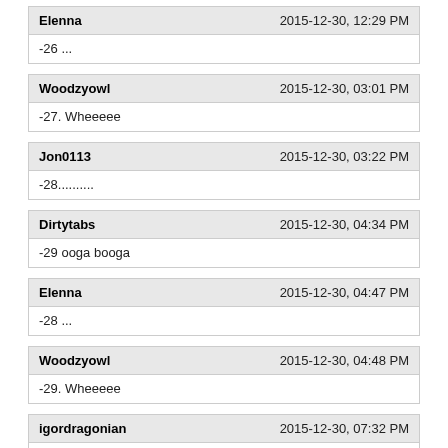Elenna | 2015-12-30, 12:29 PM | -26 ...
Woodzyowl | 2015-12-30, 03:01 PM | -27. Wheeeee
Jon0113 | 2015-12-30, 03:22 PM | -28..........
Dirtytabs | 2015-12-30, 04:34 PM | -29 ooga booga
Elenna | 2015-12-30, 04:47 PM | -28 ...
Woodzyowl | 2015-12-30, 04:48 PM | -29. Wheeeee
igordragonian | 2015-12-30, 07:32 PM | -30 !!!!!!!!!!
cavalieredraghi | 2015-12-30, 07:53 PM